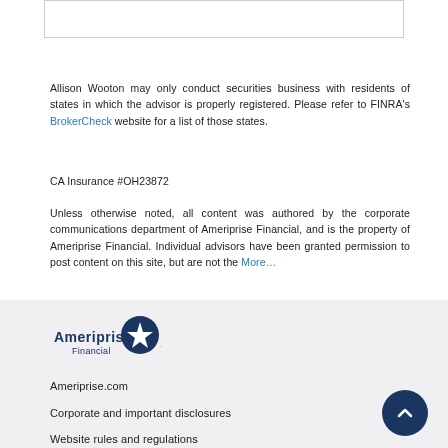Allison Wooton may only conduct securities business with residents of states in which the advisor is properly registered. Please refer to FINRA's BrokerCheck website for a list of those states.
CA Insurance #OH23872
Unless otherwise noted, all content was authored by the corporate communications department of Ameriprise Financial, and is the property of Ameriprise Financial. Individual advisors have been granted permission to post content on this site, but are not the More...
[Figure (logo): Ameriprise Financial logo with compass star icon]
Ameriprise.com
Corporate and important disclosures
Website rules and regulations